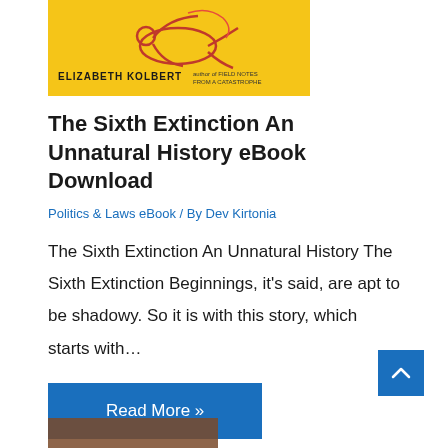[Figure (photo): Book cover of 'The Sixth Extinction An Unnatural History' by Elizabeth Kolbert on a yellow background with a red figure illustration]
The Sixth Extinction An Unnatural History eBook Download
Politics & Laws eBook / By Dev Kirtonia
The Sixth Extinction An Unnatural History The Sixth Extinction Beginnings, it's said, are apt to be shadowy. So it is with this story, which starts with…
Read More »
[Figure (photo): Partial bottom image, appears to be a dark brown surface, partially visible at bottom of page]